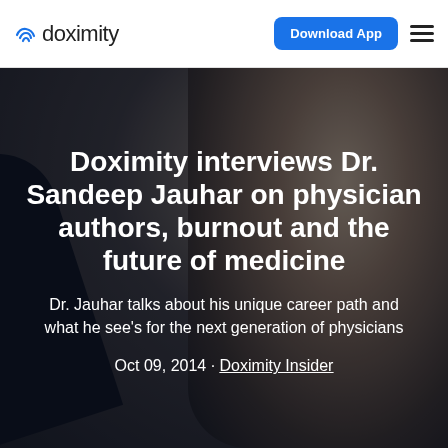[Figure (logo): Doximity logo with signal/wifi arc icon on the left]
Download App
[Figure (photo): Dark background photo of Dr. Sandeep Jauhar speaking into a microphone, face shown in profile/three-quarter view]
Doximity interviews Dr. Sandeep Jauhar on physician authors, burnout and the future of medicine
Dr. Jauhar talks about his unique career path and what he see's for the next generation of physicians
Oct 09, 2014 · Doximity Insider